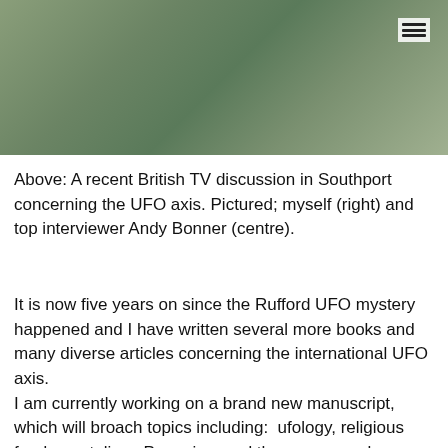[Figure (photo): Green-toned blurred image, likely a British TV discussion scene. A hamburger menu icon appears in the top-right corner.]
Above: A recent British TV discussion in Southport concerning the UFO axis. Pictured; myself (right) and top interviewer Andy Bonner (centre).
It is now five years on since the Rufford UFO mystery happened and I have written several more books and many diverse articles concerning the international UFO axis.
I am currently working on a brand new manuscript, which will broach topics including:  ufology, religious fundamentalism, Paganism and the paranormal.